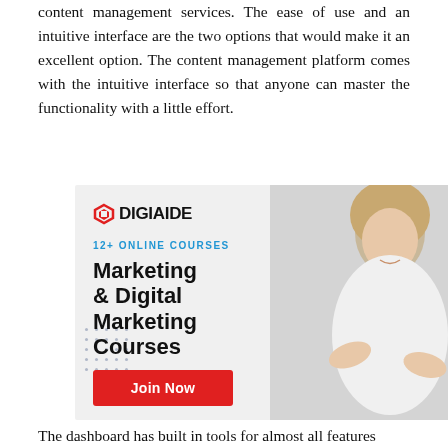content management services. The ease of use and an intuitive interface are the two options that would make it an excellent option. The content management platform comes with the intuitive interface so that anyone can master the functionality with a little effort.
[Figure (illustration): DigiAide advertisement banner featuring logo, '12+ ONLINE COURSES' subtitle, 'Marketing & Digital Marketing Courses' heading, 'Join Now' red button, and a woman with crossed arms on the right side, with dot grid decorations.]
The dashboard has built in tools for almost all features